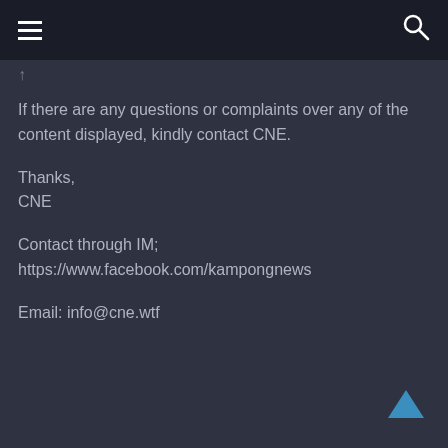[Figure (screenshot): Dark navigation bar with hamburger menu icon on the left and search icon on the right]
If there are any questions or complaints over any of the content displayed, kindly contact CNE.
Thanks,
CNE
Contact through IM;
https://www.facebook.com/kampongnews
Email: info@cne.wtf